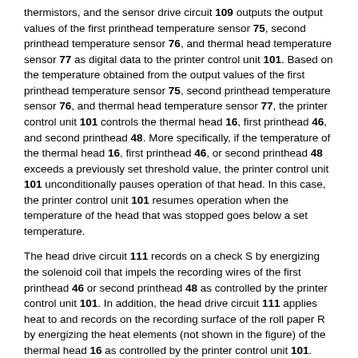thermistors, and the sensor drive circuit 109 outputs the output values of the first printhead temperature sensor 75, second printhead temperature sensor 76, and thermal head temperature sensor 77 as digital data to the printer control unit 101. Based on the temperature obtained from the output values of the first printhead temperature sensor 75, second printhead temperature sensor 76, and thermal head temperature sensor 77, the printer control unit 101 controls the thermal head 16, first printhead 46, and second printhead 48. More specifically, if the temperature of the thermal head 16, first printhead 46, or second printhead 48 exceeds a previously set threshold value, the printer control unit 101 unconditionally pauses operation of that head. In this case, the printer control unit 101 resumes operation when the temperature of the head that was stopped goes below a set temperature.
The head drive circuit 111 records on a check S by energizing the solenoid coil that impels the recording wires of the first printhead 46 or second printhead 48 as controlled by the printer control unit 101. In addition, the head drive circuit 111 applies heat to and records on the recording surface of the roll paper R by energizing the heat elements (not shown in the figure) of the thermal head 16 as controlled by the printer control unit 101.
The motor driver 113 outputs drive power and drive pulses as controlled by the printer control unit 101 to the motors, including the roll paper conveyance motor 17, cutter drive motor 24, slip feed motor 29, roller...